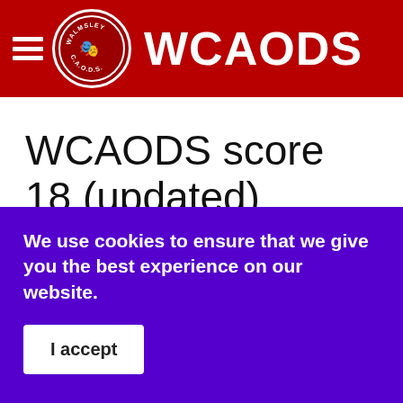WCAODS
WCAODS score 18 (updated) nominations from NODA District 5 Awards
We use cookies to ensure that we give you the best experience on our website.
I accept